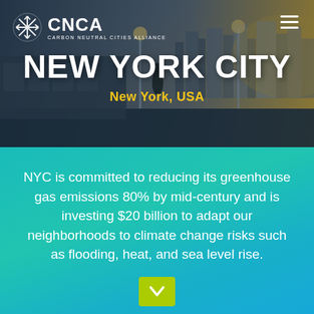[Figure (photo): Hero image of New York City subway platform with city skyline in background, overlaid with dark tint]
CNCA — Carbon Neutral Cities Alliance
NEW YORK CITY
New York, USA
NYC is committed to reducing its greenhouse gas emissions 80% by mid-century and is investing $20 billion to adapt our neighborhoods to climate change risks such as flooding, heat, and sea level rise.